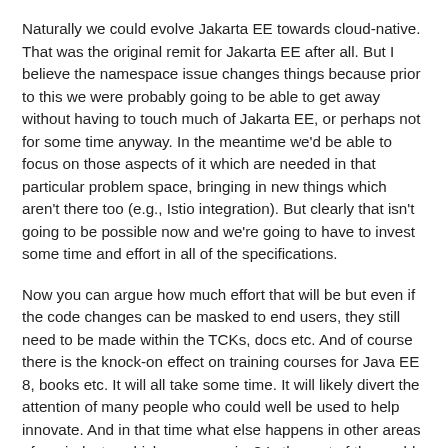Naturally we could evolve Jakarta EE towards cloud-native. That was the original remit for Jakarta EE after all. But I believe the namespace issue changes things because prior to this we were probably going to be able to get away without having to touch much of Jakarta EE, or perhaps not for some time anyway. In the meantime we'd be able to focus on those aspects of it which are needed in that particular problem space, bringing in new things which aren't there too (e.g., Istio integration). But clearly that isn't going to be possible now and we're going to have to invest some time and effort in all of the specifications.
Now you can argue how much effort that will be but even if the code changes can be masked to end users, they still need to be made within the TCKs, docs etc. And of course there is the knock-on effect on training courses for Java EE 8, books etc. It will all take some time. It will likely divert the attention of many people who could well be used to help innovate. And in that time what else happens in other areas of our industry which we may miss? Is the rest of the world going to stand still? We risk stagnation and developers